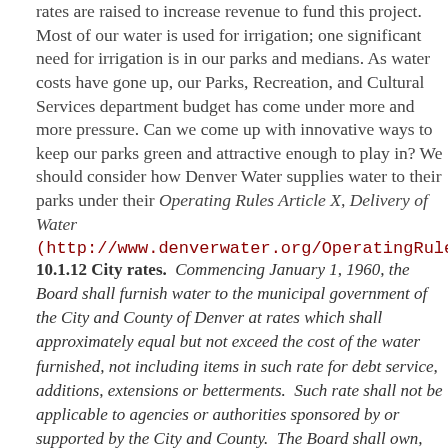rates are raised to increase revenue to fund this project. Most of our water is used for irrigation; one significant need for irrigation is in our parks and medians. As water costs have gone up, our Parks, Recreation, and Cultural Services department budget has come under more and more pressure. Can we come up with innovative ways to keep our parks green and attractive enough to play in? We should consider how Denver Water supplies water to their parks under their Operating Rules Article X, Delivery of Water
(http://www.denverwater.org/OperatingRules/OperRulesA...
10.1.12 City rates.  Commencing January 1, 1960, the Board shall furnish water to the municipal government of the City and County of Denver at rates which shall approximately equal but not exceed the cost of the water furnished, not including items in such rate for debt service, additions, extensions or betterments.  Such rate shall not be applicable to agencies or authorities sponsored by or supported by the City and County.  The Board shall own, control and operate all water, water rights, structures and facilities of the City and County of Denver pertaining to